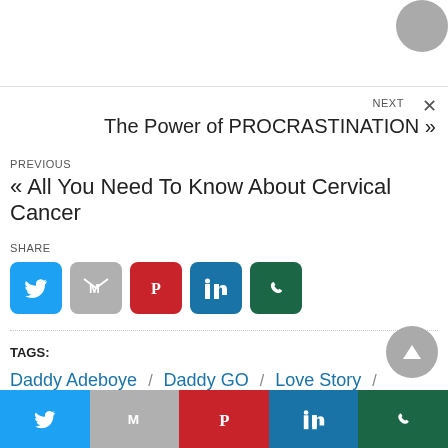NEXT
The Power of PROCRASTINATION »
PREVIOUS
« All You Need To Know About Cervical Cancer
SHARE
[Figure (other): Social share icons: Twitter, Gmail, Pinterest, LinkedIn, WhatsApp]
TAGS:
Daddy Adeboye / Daddy GO / Love Story / Mummy Adeboye / Mummy GO / Pastor Adeboye
Twitter | Gmail | Pinterest | LinkedIn | WhatsApp share buttons